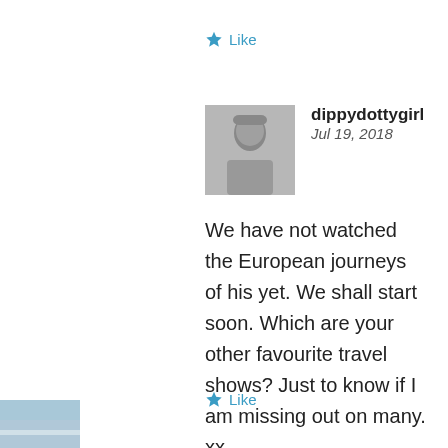Like
dippydottygirl
Jul 19, 2018
We have not watched the European journeys of his yet. We shall start soon. Which are your other favourite travel shows? Just to know if I am missing out on many. xx
Like